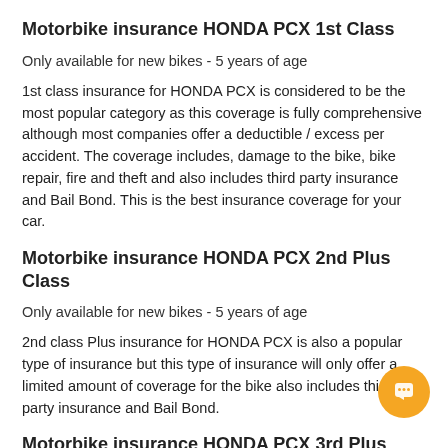Motorbike insurance HONDA PCX 1st Class
Only available for new bikes - 5 years of age
1st class insurance for HONDA PCX is considered to be the most popular category as this coverage is fully comprehensive although most companies offer a deductible / excess per accident. The coverage includes, damage to the bike, bike repair, fire and theft and also includes third party insurance and Bail Bond. This is the best insurance coverage for your car.
Motorbike insurance HONDA PCX 2nd Plus Class
Only available for new bikes - 5 years of age
2nd class Plus insurance for HONDA PCX is also a popular type of insurance but this type of insurance will only offer a limited amount of coverage for the bike also includes third party insurance and Bail Bond.
Motorbike insurance HONDA PCX 3rd Plus Class
3rd class + insurance for HONDA PCX is considered to be one of